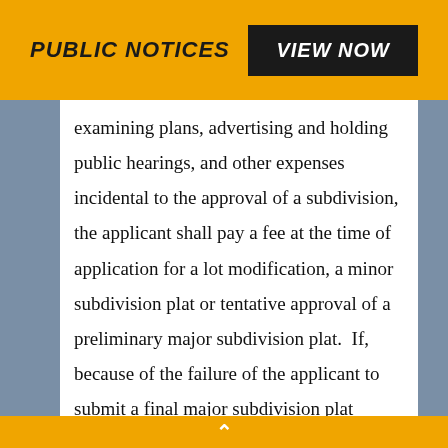Public Notices
examining plans, advertising and holding public hearings, and other expenses incidental to the approval of a subdivision, the applicant shall pay a fee at the time of application for a lot modification, a minor subdivision plat or tentative approval of a preliminary major subdivision plat.  If, because of the failure of the applicant to submit a final major subdivision plat within twelve (12) months after receiving tentative approval of a preliminary major subdivision plat, it is necessary to resubmit a preliminary major subdivision plat for tentative
^